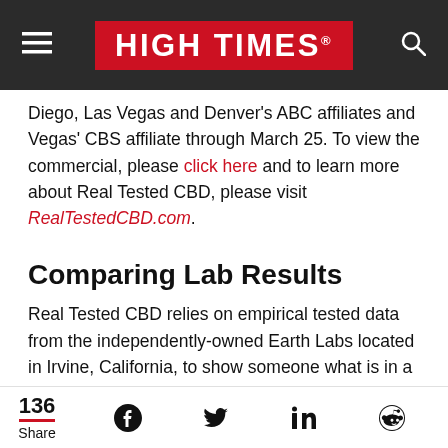HIGH TIMES
Diego, Las Vegas and Denver's ABC affiliates and Vegas' CBS affiliate through March 25. To view the commercial, please click here and to learn more about Real Tested CBD, please visit RealTestedCBD.com.
Comparing Lab Results
Real Tested CBD relies on empirical tested data from the independently-owned Earth Labs located in Irvine, California, to show someone what is in a CBD product
136 Share